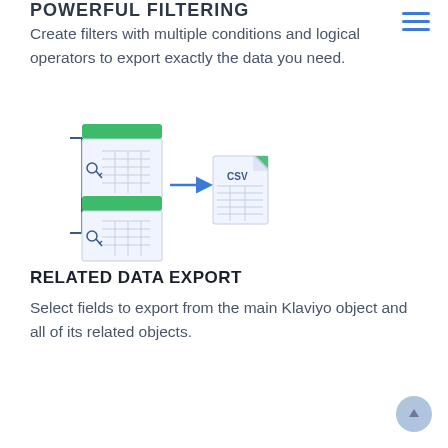POWERFUL FILTERING
Create filters with multiple conditions and logical operators to export exactly the data you need.
[Figure (illustration): Illustration showing two database/table icons on the left connected by an arrow to a CSV file icon on the right, representing data export functionality.]
RELATED DATA EXPORT
Select fields to export from the main Klaviyo object and all of its related objects.